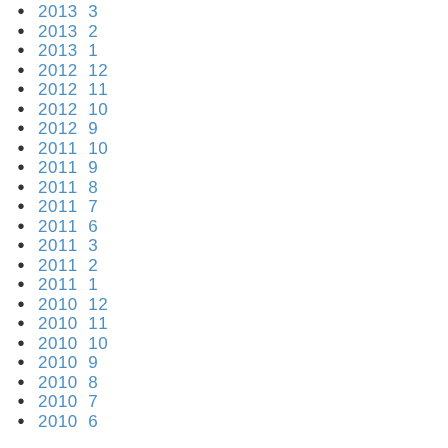2013  3
2013  2
2013  1
2012  12
2012  11
2012  10
2012  9
2011  10
2011  9
2011  8
2011  7
2011  6
2011  3
2011  2
2011  1
2010  12
2010  11
2010  10
2010  9
2010  8
2010  7
2010  6